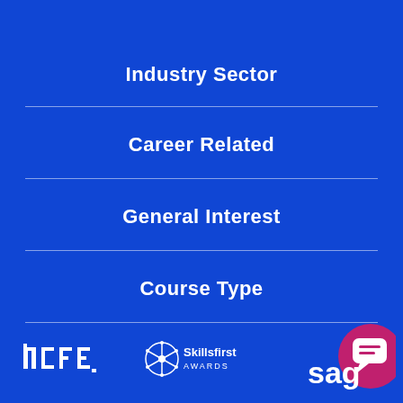Industry Sector
Career Related
General Interest
Course Type
[Figure (logo): NCFE logo in white on blue background]
[Figure (logo): Skillsfirst Awards logo in white on blue background]
[Figure (logo): Sage logo with pink chat bubble icon on blue background]